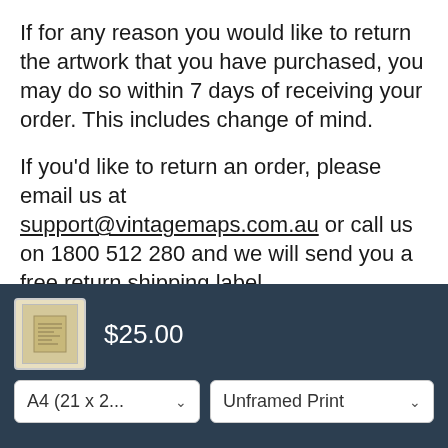If for any reason you would like to return the artwork that you have purchased, you may do so within 7 days of receiving your order. This includes change of mind.
If you'd like to return an order, please email us at support@vintagemaps.com.au or call us on 1800 512 280 and we will send you a free return shipping label.
We Guarantee 100% Product Satisfaction & Safe Delivery -- Or Your Money Back.
[Figure (screenshot): Dark navy bottom bar showing a vintage map thumbnail, price of $25.00, a dropdown for size 'A4 (21 x 2...' and a dropdown for 'Unframed Print']